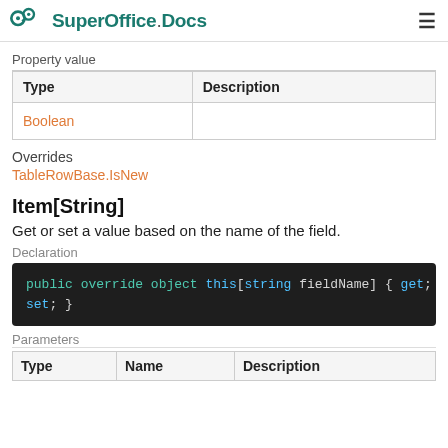SuperOffice.Docs
Property value
| Type | Description |
| --- | --- |
| Boolean |  |
Overrides
TableRowBase.IsNew
Item[String]
Get or set a value based on the name of the field.
Declaration
public override object this[string fieldName] { get; set; }
Parameters
| Type | Name | Description |
| --- | --- | --- |